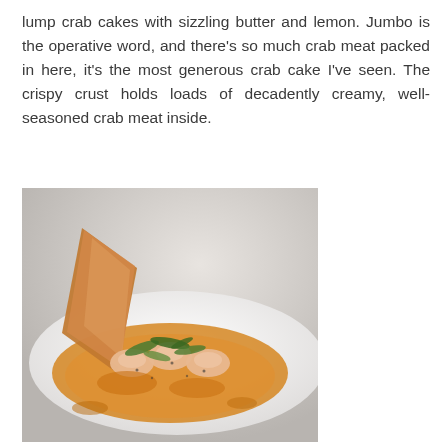lump crab cakes with sizzling butter and lemon. Jumbo is the operative word, and there's so much crab meat packed in here, it's the most generous crab cake I've seen. The crispy crust holds loads of decadently creamy, well-seasoned crab meat inside.
[Figure (photo): A white elongated plate holding shrimp in an orange-yellow sauce garnished with fresh herbs, with a piece of toasted bread leaning against the food, photographed from slightly above at an angle.]